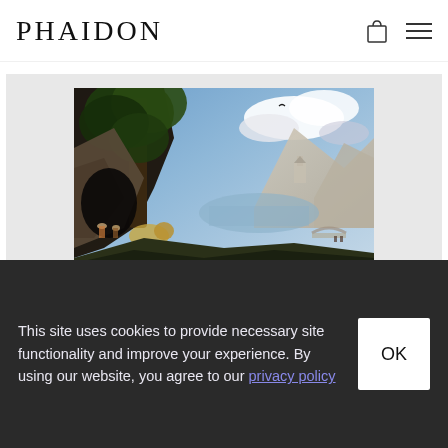PHAIDON
[Figure (illustration): A classical landscape painting showing a rocky gorge with large trees on the left, mountains in the background, dramatic blue sky with clouds, and small figures of people with animals in the foreground near a cave opening. The style suggests Flemish or Dutch Golden Age painting.]
This site uses cookies to provide necessary site functionality and improve your experience. By using our website, you agree to our privacy policy